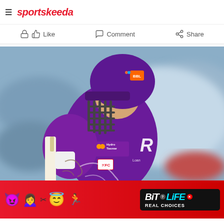sportskeeda
Like   Comment   Share
[Figure (photo): Cricket player wearing purple Hobart Hurricanes BBL kit with helmet, carrying a cricket bat, looking downward. The player has visible tattoos on their arm. Sponsors visible include Hydro Tasmania and KFC. Background is blurred stadium seating.]
[Figure (infographic): BitLife advertisement banner with red background, emojis (devil, woman, angel), sperm icon, and BitLife logo with 'REAL CHOICES' text on black background]